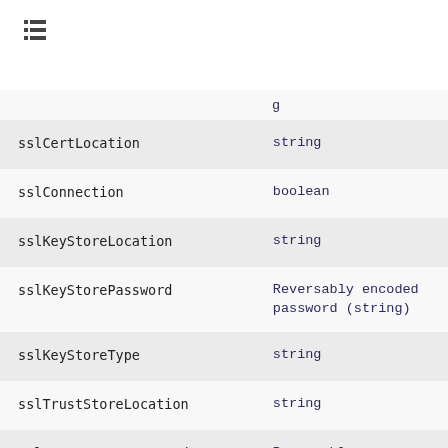[Figure (other): Navigation/menu icon (list icon) in top-left corner]
| Property | Type |
| --- | --- |
| sslCertLocation | string |
| sslConnection | boolean |
| sslKeyStoreLocation | string |
| sslKeyStorePassword | Reversably encoded password (string) |
| sslKeyStoreType | string |
| sslTrustStoreLocation | string |
| sslTrustStorePassword | Reversably encoded... |